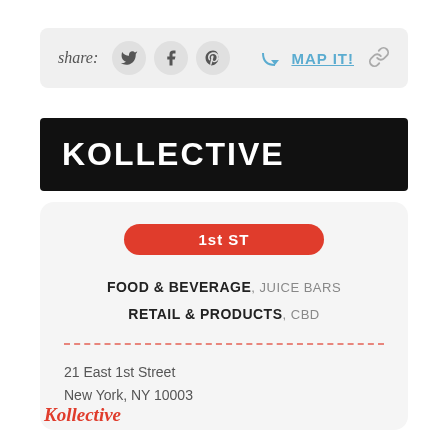[Figure (infographic): Share bar with social icons (Twitter, Facebook, Pinterest), MAP IT! link, and chain link icon on a light gray rounded background]
KOLLECTIVE
[Figure (infographic): Info card with red pill badge '1st ST', category tags, dashed red divider, and address]
FOOD & BEVERAGE, JUICE BARS
RETAIL & PRODUCTS, CBD
21 East 1st Street
New York, NY 10003
Kollective